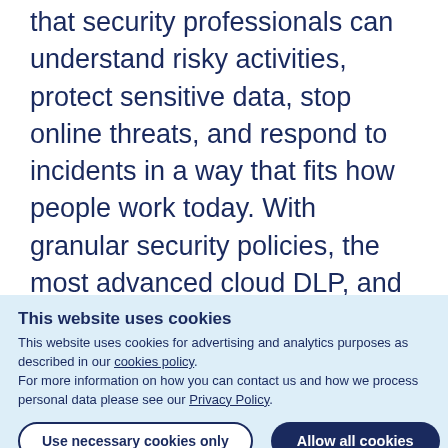that security professionals can understand risky activities, protect sensitive data, stop online threats, and respond to incidents in a way that fits how people work today. With granular security policies, the most advanced cloud DLP, and unmatched breadth of workflows, Netskope is trusted by the largest companies in the world. Netskope — cloud with confidence. To learn more, visit our website
This website uses cookies
This website uses cookies for advertising and analytics purposes as described in our cookies policy. For more information on how you can contact us and how we process personal data please see our Privacy Policy.
Use necessary cookies only
Allow all cookies
Show details